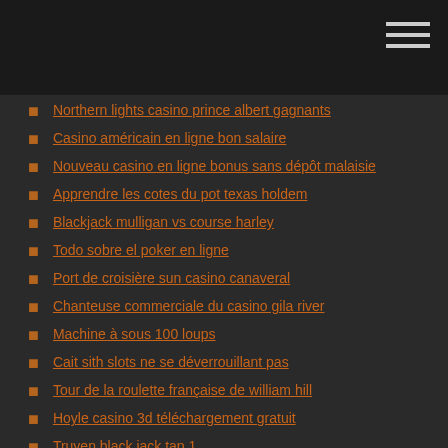Northern lights casino prince albert gagnants
Casino américain en ligne bon salaire
Nouveau casino en ligne bonus sans dépôt malaisie
Apprendre les cotes du pot texas holdem
Blackjack mulligan vs course harley
Todo sobre el poker en ligne
Port de croisière sun casino canaveral
Chanteuse commerciale du casino gila river
Machine à sous 100 loups
Cait sith slots ne se déverrouillant pas
Tour de la roulette française de william hill
Hoyle casino 3d téléchargement gratuit
Truyen black jack tap 1
Casino près de door county wisconsin